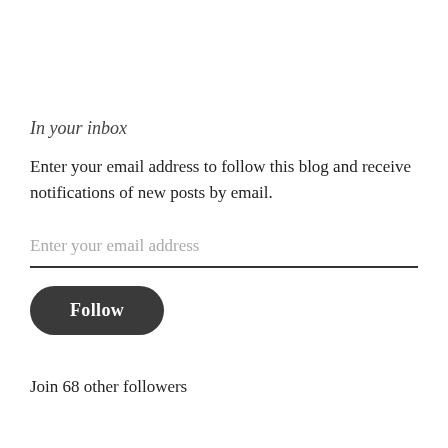In your inbox
Enter your email address to follow this blog and receive notifications of new posts by email.
Enter your email address
Follow
Join 68 other followers
Search ...